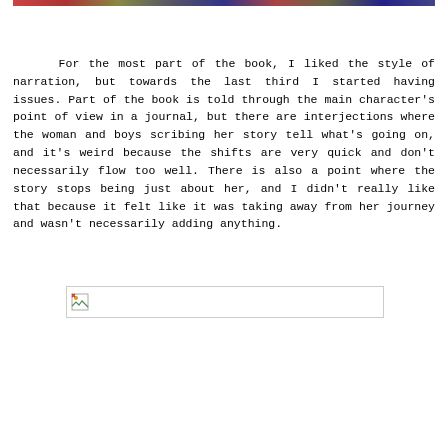[Figure (photo): Partial cropped image at top of page showing colorful scene, only bottom strip visible]
For the most part of the book, I liked the style of narration, but towards the last third I started having issues. Part of the book is told through the main character's point of view in a journal, but there are interjections where the woman and boys scribing her story tell what's going on, and it's weird because the shifts are very quick and don't necessarily flow too well. There is also a point where the story stops being just about her, and I didn't really like that because it felt like it was taking away from her journey and wasn't necessarily adding anything.
[Figure (photo): Broken/missing image placeholder with small icon]